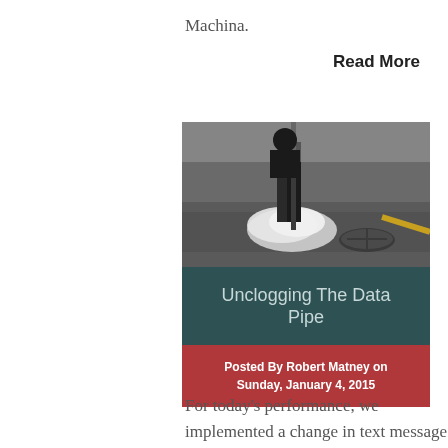Machina.
Read More
[Figure (photo): Black and white photo of a person using a tool to work on a road surface near a manhole cover, with steam or smoke visible. Below the photo is a dark teal band with text 'Unclogging The Data Pipe' and a red band with 'Posted By Robert Matney on Sunday, January 4, 2015'.]
For today's performance, we implemented a change in text message